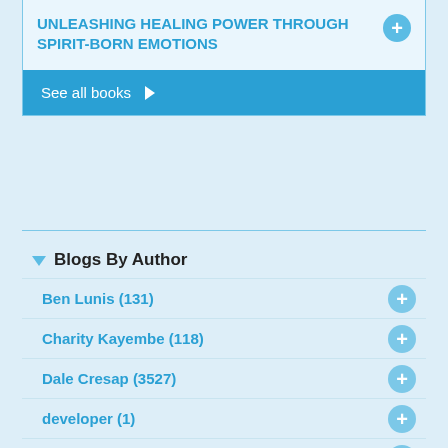UNLEASHING HEALING POWER THROUGH SPIRIT-BORN EMOTIONS
See all books
Blogs By Author
Ben Lunis (131)
Charity Kayembe (118)
Dale Cresap (3527)
developer (1)
Jesse Birkey (180)
Joe Brock (4)
Josh Virkler (2)